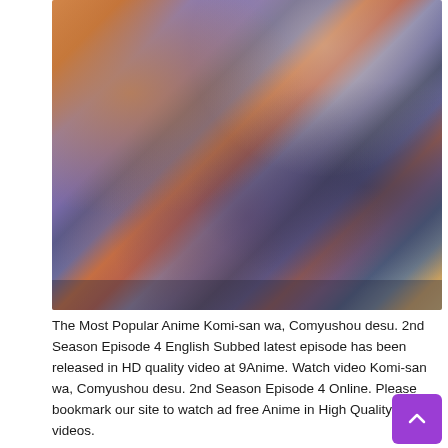[Figure (illustration): Anime screenshot from Komi-san wa, Comyushou desu. 2nd Season Episode 4, showing multiple anime characters in a scene with autumn background colors. Characters include figures in school/casual clothing with browns, purples, and oranges in the background.]
The Most Popular Anime Komi-san wa, Comyushou desu. 2nd Season Episode 4 English Subbed latest episode has been released in HD quality video at 9Anime. Watch video Komi-san wa, Comyushou desu. 2nd Season Episode 4 Online. Please bookmark our site to watch ad free Anime in High Quality videos.
Read More »